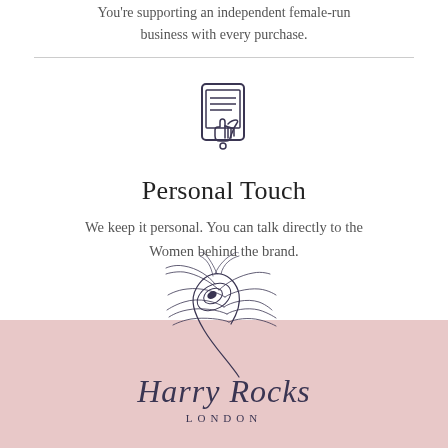You're supporting an independent female-run business with every purchase.
[Figure (illustration): Line drawing icon of a hand tapping a tablet/phone screen with a list on it]
Personal Touch
We keep it personal. You can talk directly to the Women behind the brand.
[Figure (illustration): Decorative peacock feather illustration in dark navy/purple ink style]
Harry Rocks
LONDON